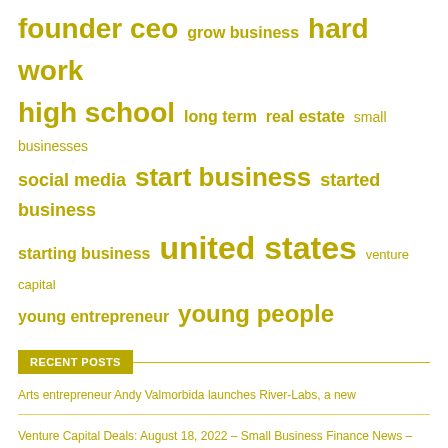[Figure (other): Word cloud with tags in varying sizes, all in golden/olive color. Tags include: founder ceo, grow business, hard work, high school, long term, real estate, small businesses, social media, start business, started business, starting business, united states, venture capital, young entrepreneur, young people]
RECENT POSTS
Arts entrepreneur Andy Valmorbida launches River-Labs, a new
Venture Capital Deals: August 18, 2022 – Small Business Finance News – Entrepreneur News
Why you must love failure to become a successful entrepreneur
Entrepreneur Ranks Netsertive Among Top Marketing Franchise Providers
Apple Entrepreneur Club to improve your professional application